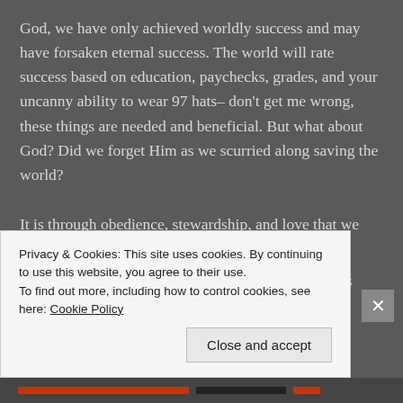God, we have only achieved worldly success and may have forsaken eternal success. The world will rate success based on education, paychecks, grades, and your uncanny ability to wear 97 hats– don't get me wrong, these things are needed and beneficial. But what about God? Did we forget Him as we scurried along saving the world?
It is through obedience, stewardship, and love that we find success:
Stewardship: We must take responsibility for what has
Privacy & Cookies: This site uses cookies. By continuing to use this website, you agree to their use.
To find out more, including how to control cookies, see here: Cookie Policy